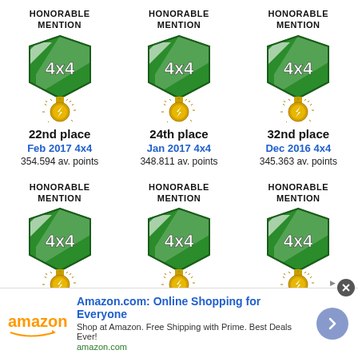[Figure (illustration): Honorable Mention medal badge with green and white shield showing '4x4' and gold sunburst medallion - 22nd place]
HONORABLE
MENTION
22nd place
Feb 2017 4x4
354.594 av. points
[Figure (illustration): Honorable Mention medal badge with green and white shield showing '4x4' and gold sunburst medallion - 24th place]
HONORABLE
MENTION
24th place
Jan 2017 4x4
348.811 av. points
[Figure (illustration): Honorable Mention medal badge with green and white shield showing '4x4' and gold sunburst medallion - 32nd place]
HONORABLE
MENTION
32nd place
Dec 2016 4x4
345.363 av. points
[Figure (illustration): Honorable Mention medal badge with green and white shield showing '4x4' and gold sunburst medallion - bottom row left]
HONORABLE
MENTION
[Figure (illustration): Honorable Mention medal badge with green and white shield showing '4x4' and gold sunburst medallion - bottom row center]
HONORABLE
MENTION
[Figure (illustration): Honorable Mention medal badge with green and white shield showing '4x4' and gold sunburst medallion - bottom row right]
HONORABLE
MENTION
[Figure (illustration): Amazon advertisement banner: 'Amazon.com: Online Shopping for Everyone', amazon logo, arrow button]